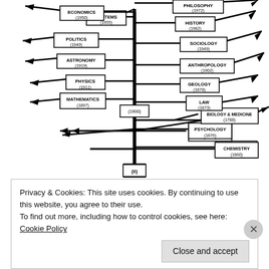[Figure (organizational-chart): A tree diagram showing the branching of academic disciplines from a central trunk, with dates in parentheses indicating when each field diverged. Fields include Philosophy (1972), History (1982), Economics (1950), Systems (1955), Politics (1949), Sociology (1949), Astronomy (1919), Anthropology (1902), Physics (1911), Geology (1878), Mathematics (1897), (1900) node, Law (1873), Psychology (1876), Biology & Medicine (1788), Chemistry (1860), and (0) at the root.]
Privacy & Cookies: This site uses cookies. By continuing to use this website, you agree to their use.
To find out more, including how to control cookies, see here: Cookie Policy
Close and accept